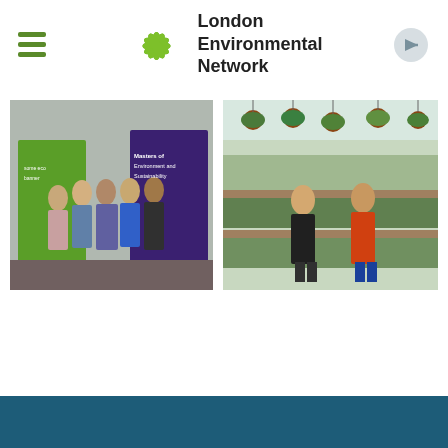[Figure (logo): London Environmental Network logo with green starburst/leaf icon and bold text reading 'London Environmental Network']
[Figure (photo): Group photo of five people standing in front of event banners including a green banner and a purple Masters of Environment and Sustainability banner]
[Figure (photo): Two people standing in a greenhouse full of plants and hanging baskets, one wearing black and one wearing an orange shirt]